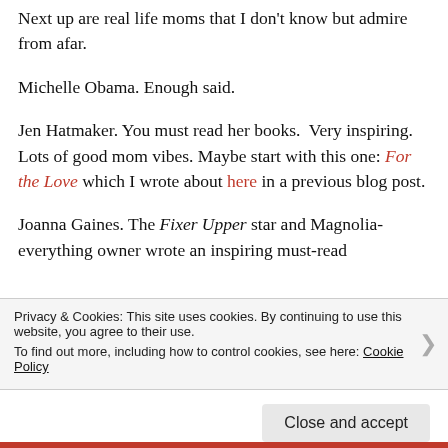Next up are real life moms that I don't know but admire from afar.
Michelle Obama. Enough said.
Jen Hatmaker. You must read her books.  Very inspiring.  Lots of good mom vibes. Maybe start with this one: For the Love which I wrote about here in a previous blog post.
Joanna Gaines. The Fixer Upper star and Magnolia-everything owner wrote an inspiring must-read
Privacy & Cookies: This site uses cookies. By continuing to use this website, you agree to their use.
To find out more, including how to control cookies, see here: Cookie Policy
Close and accept